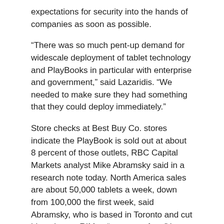expectations for security into the hands of companies as soon as possible.
“There was so much pent-up demand for widescale deployment of tablet technology and PlayBooks in particular with enterprise and government,” said Lazaridis. “We needed to make sure they had something that they could deploy immediately.”
Store checks at Best Buy Co. stores indicate the PlayBook is sold out at about 8 percent of those outlets, RBC Capital Markets analyst Mike Abramsky said in a research note today. North America sales are about 50,000 tablets a week, down from 100,000 the first week, said Abramsky, who is based in Toronto and cut his rating on RIM to “sector perform” last week.
“This data may suggest that PlayBook sell-through remains healthy but may be leveling off from its first week,” he said.
To contact the reporter on this story:
Hugo Miller in Orlando, Florida, at